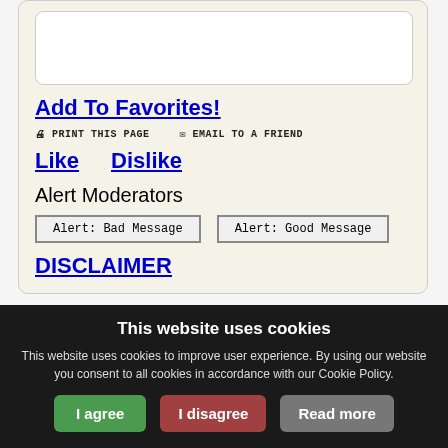Add To Favorites!
PRINT THIS PAGE   EMAIL TO A FRIEND
Like   Dislike
Alert Moderators
Alert: Bad Message   Alert: Good Message
DISCLAIMER
This Forum message belongs to a larger
This website uses cookies
This website uses cookies to improve user experience. By using our website you consent to all cookies in accordance with our Cookie Policy.
I agree   I disagree   Read more